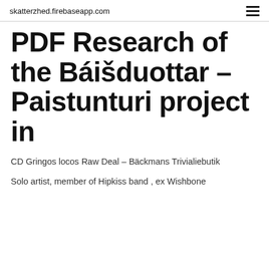skatterzhed.firebaseapp.com
PDF Research of the Báišduottar – Paistunturi project in
CD Gringos locos Raw Deal – Bäckmans Trivialiebutik
Solo artist, member of Hipkiss band , ex Wishbone